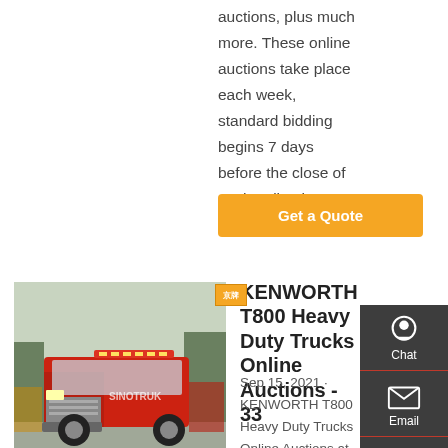auctions, plus much more. These online auctions take place each week, standard bidding begins 7 days before the close of each online heavy equipment auction.
Get a Quote
[Figure (photo): Red Kenworth T800 heavy duty truck, front view, parked in a lot with other trucks]
KENWORTH T800 Heavy Duty Trucks Online Auctions - 33
Sep 15, 2021 · KENWORTH T800 Heavy Duty Trucks Online Auctions at EquipmentFacts.com. See